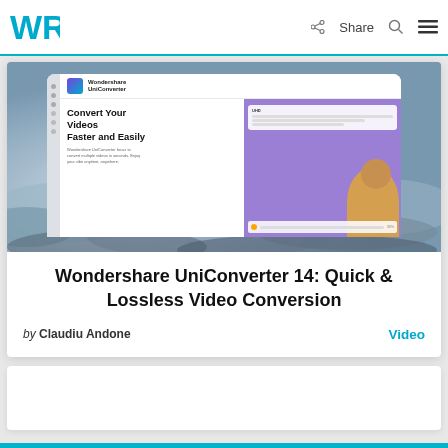WR | Share
[Figure (screenshot): Wondershare UniConverter app screenshot showing Convert Your Videos Faster and Easily with a woman in yellow shirt on purple background]
Wondershare UniConverter 14: Quick & Lossless Video Conversion
by Claudiu Andone
Video